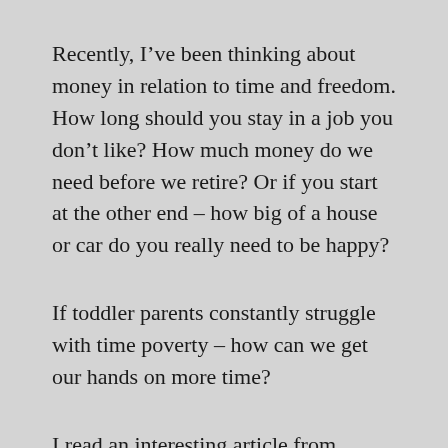Recently, I’ve been thinking about money in relation to time and freedom. How long should you stay in a job you don’t like? How much money do we need before we retire? Or if you start at the other end – how big of a house or car do you really need to be happy?
If toddler parents constantly struggle with time poverty – how can we get our hands on more time?
I read an interesting article from Psychology Today about money and happiness. It claims that there are 3 ways that money can actually make you happy. Buying time is one of them.